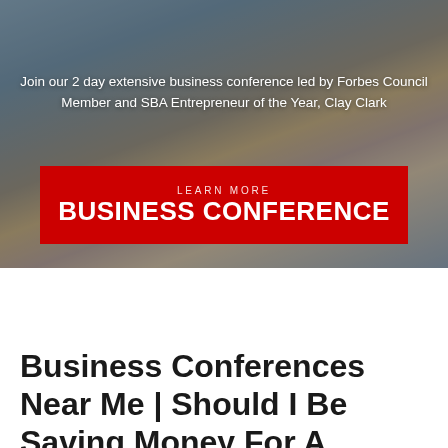[Figure (photo): Business conference scene showing audience members from behind, facing a speaker at the front of the room. Overlaid with red banner.]
Join our 2 day extensive business conference led by Forbes Council Member and SBA Entrepreneur of the Year, Clay Clark
LEARN MORE
BUSINESS CONFERENCE
Business Conferences Near Me | Should I Be Saving Money For A